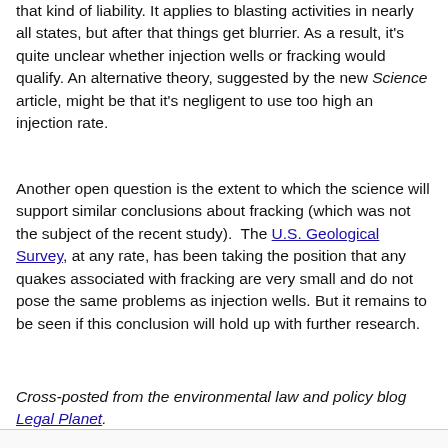that kind of liability. It applies to blasting activities in nearly all states, but after that things get blurrier. As a result, it's quite unclear whether injection wells or fracking would qualify. An alternative theory, suggested by the new Science article, might be that it's negligent to use too high an injection rate.
Another open question is the extent to which the science will support similar conclusions about fracking (which was not the subject of the recent study). The U.S. Geological Survey, at any rate, has been taking the position that any quakes associated with fracking are very small and do not pose the same problems as injection wells. But it remains to be seen if this conclusion will hold up with further research.
Cross-posted from the environmental law and policy blog Legal Planet.